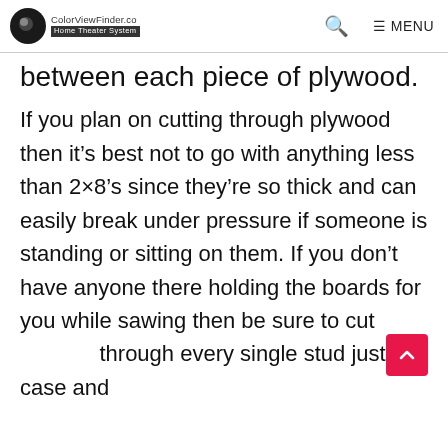ColorViewFinder.co Home Theater System  🔍  ≡ MENU
between each piece of plywood.
If you plan on cutting through plywood then it's best not to go with anything less than 2×8's since they're so thick and can easily break under pressure if someone is standing or sitting on them. If you don't have anyone there holding the boards for you while sawing then be sure to cut through every single stud just in case and